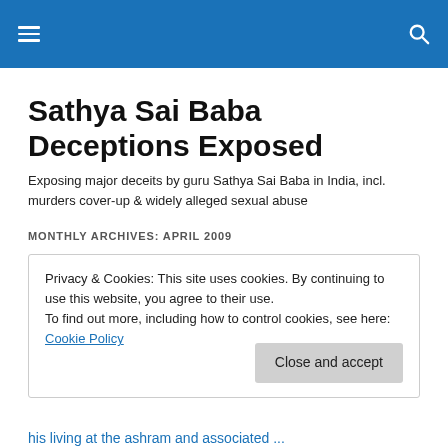[navigation bar with hamburger menu and search icon]
Sathya Sai Baba Deceptions Exposed
Exposing major deceits by guru Sathya Sai Baba in India, incl. murders cover-up & widely alleged sexual abuse
MONTHLY ARCHIVES: APRIL 2009
Privacy & Cookies: This site uses cookies. By continuing to use this website, you agree to their use.
To find out more, including how to control cookies, see here: Cookie Policy
[Close and accept button]
his living at the ashram and associated...